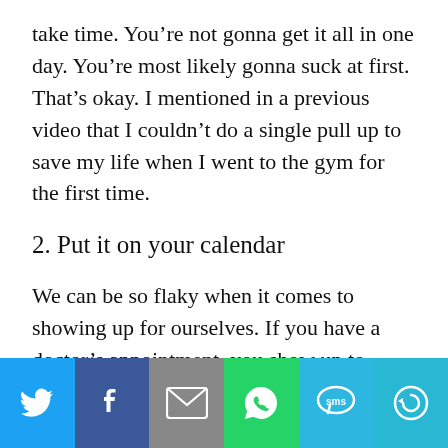take time. You're not gonna get it all in one day. You're most likely gonna suck at first. That's okay. I mentioned in a previous video that I couldn't do a single pull up to save my life when I went to the gym for the first time.
2. Put it on your calendar
We can be so flaky when it comes to showing up for ourselves. If you have a doctor's appointment, you show up to
[Figure (infographic): Social sharing bar with six buttons: Twitter (blue bird icon), Facebook (dark blue f icon), Email (grey envelope icon), WhatsApp (green phone icon), SMS (blue SMS icon), More (teal circular arrow icon)]